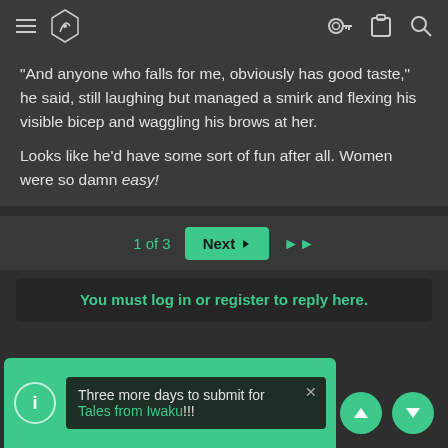Navigation bar with hamburger menu, logo, key icon, clipboard icon, search icon
"And anyone who falls for me, obviously has good taste," he said, still laughing but managed a smirk and flexing his visible bicep and waggling his brows at her.
Looks like he'd have some sort of fun after all. Women were so damn easy!
1 of 3   Next ▶   ▶▶
You must log in or register to reply here.
Share:
Three more days to submit for Tales from Iwaku!!!